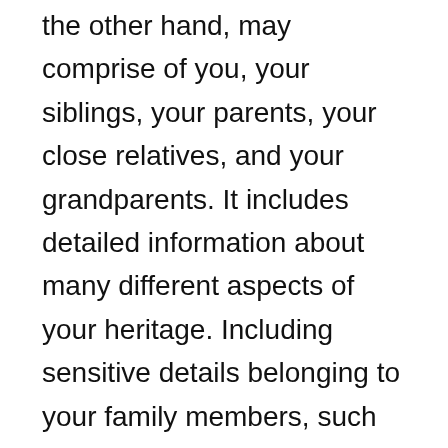the other hand, may comprise of you, your siblings, your parents, your close relatives, and your grandparents. It includes detailed information about many different aspects of your heritage. Including sensitive details belonging to your family members, such as their physical addresses, financial credentials, medical history, and so on. Click in the next lower box or shape on the chart. Stuck on math homework? Open the application, start a new document, and then choose whether or not to use a pre-made template. What you should do is to create a basic drawing first on a sheet of paper. 150 free editable family tree templates. Family Tree Template – 140+ Free Word, Excel, PDF Format Download! After that, the